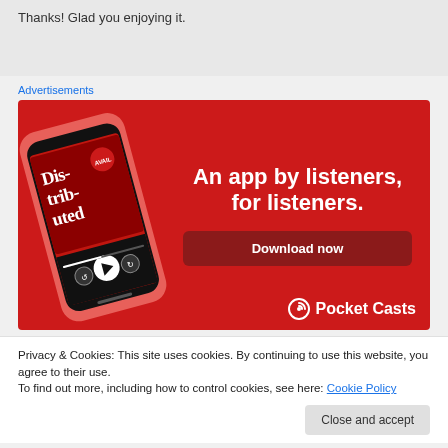Thanks! Glad you enjoying it.
Advertisements
[Figure (illustration): Pocket Casts app advertisement banner with red background showing a smartphone displaying the Dis-tri-buted podcast, with tagline 'An app by listeners, for listeners.' and a Download now button, Pocket Casts logo at the bottom right.]
Privacy & Cookies: This site uses cookies. By continuing to use this website, you agree to their use.
To find out more, including how to control cookies, see here: Cookie Policy
Close and accept